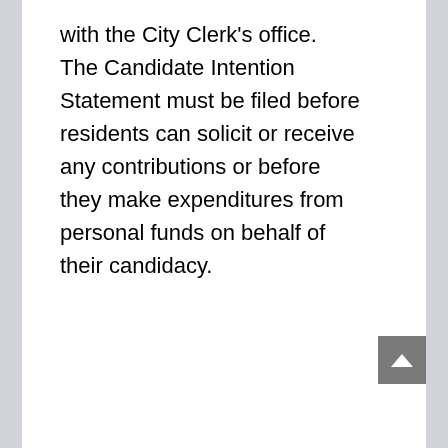with the City Clerk's office. The Candidate Intention Statement must be filed before residents can solicit or receive any contributions or before they make expenditures from personal funds on behalf of their candidacy.